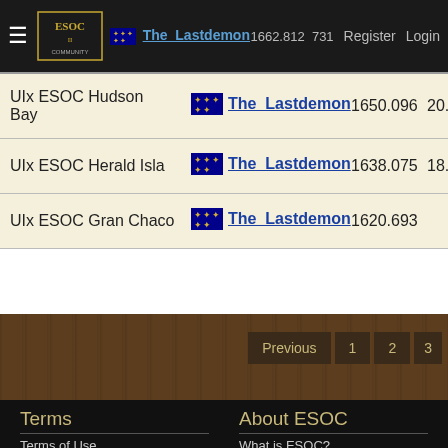ESOC Community — The_Lastdemon 1662.812 Register Login
| Map | Player | Score |  |
| --- | --- | --- | --- |
| UIx ESOC Hudson Bay | The_Lastdemon | 1650.096 | 20. |
| UIx ESOC Herald Isla | The_Lastdemon | 1638.075 | 18. |
| UIx ESOC Gran Chaco | The_Lastdemon | 1620.693 |  |
Previous 1 2 3
Terms
Terms of Use
Privacy Policy
Delete Cookies
FAQ
About ESOC
What is ESOC?
The Team
Members
Donate